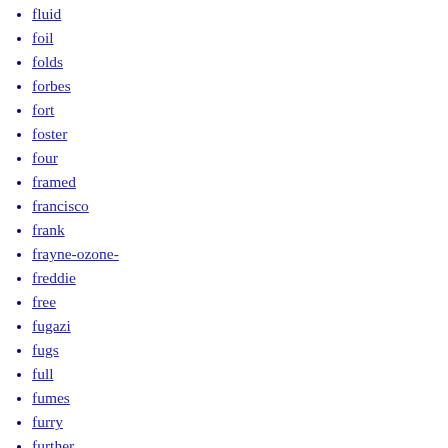fluid
foil
folds
forbes
fort
foster
four
framed
francisco
frank
frayne-ozone-
freddie
free
fugazi
fugs
full
fumes
furry
further
furthur
gamble
gary
gaslight
gene
genesis
geniuses
george
german